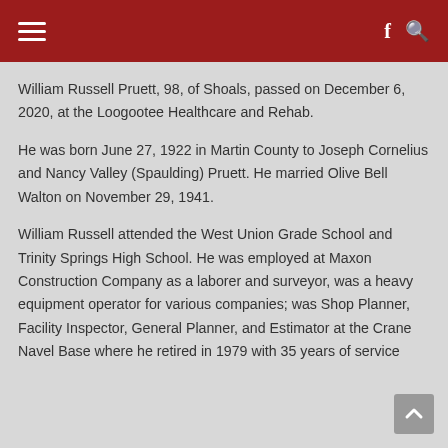≡  f Q
William Russell Pruett, 98, of Shoals, passed on December 6, 2020, at the Loogootee Healthcare and Rehab.
He was born June 27, 1922 in Martin County to Joseph Cornelius and Nancy Valley (Spaulding) Pruett. He married Olive Bell Walton on November 29, 1941.
William Russell attended the West Union Grade School and Trinity Springs High School. He was employed at Maxon Construction Company as a laborer and surveyor, was a heavy equipment operator for various companies; was Shop Planner, Facility Inspector, General Planner, and Estimator at the Crane Navel Base where he retired in 1979 with 35 years of service